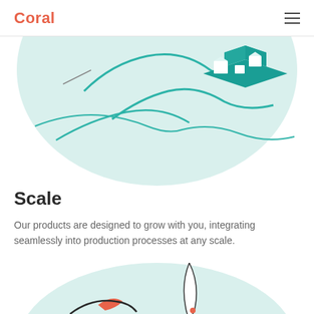Coral
[Figure (illustration): Partial circular illustration showing a teal/mint colored map-like bird's eye view with white building shapes and curving teal lines on a light mint background, cropped at top]
Scale
Our products are designed to grow with you, integrating seamlessly into production processes at any scale.
[Figure (illustration): Partial circular illustration showing a coral/salmon bird shape on a light mint background, cropped at bottom of page, with a thin outlined feather/leaf shape above]